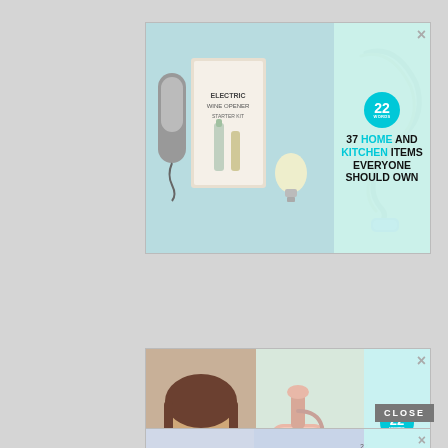[Figure (screenshot): Advertisement banner: '37 HOME AND KITCHEN ITEMS EVERYONE SHOULD OWN' with kitchen gadget images on cyan background with '22' badge]
[Figure (screenshot): Advertisement banner: '37 ITEMS PEOPLE LOVE TO PURCHASE ON AMAZON' with necklace and soap dispenser images on cyan background with '22' badge]
[Figure (screenshot): Advertisement banner (partial): '37 BEAUTY PRODUCTS WITH SUCH GOOD REVIEWS YOU MIGHT WANT TO TRY THEM YOURSELF' with beauty product images on cyan background with '22' badge and CLOSE button]